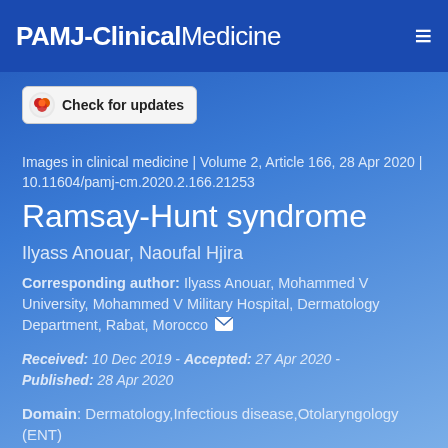PAMJ-ClinicalMedicine
[Figure (logo): Check for updates badge with circular icon]
Images in clinical medicine | Volume 2, Article 166, 28 Apr 2020 | 10.11604/pamj-cm.2020.2.166.21253
Ramsay-Hunt syndrome
Ilyass Anouar, Naoufal Hjira
Corresponding author: Ilyass Anouar, Mohammed V University, Mohammed V Military Hospital, Dermatology Department, Rabat, Morocco
Received: 10 Dec 2019 - Accepted: 27 Apr 2020 - Published: 28 Apr 2020
Domain: Dermatology,Infectious disease,Otolaryngology (ENT)